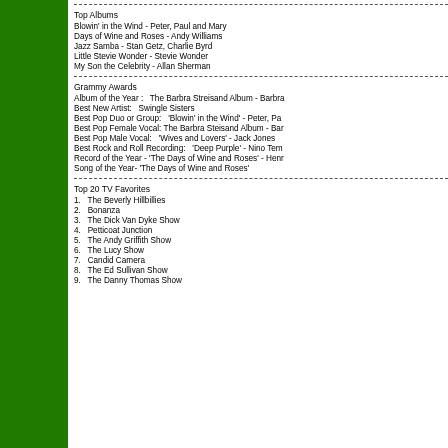Top Albums
Blowin' in the Wind - Peter, Paul and Mary
Days of Wine and Roses - Andy Williams
Jazz Samba - Stan Getz, Charlie Byrd
Little Stevie Wonder - Stevie Wonder
My Son the Celebrity - Allan Sherman
Grammy Awards
Album of the Year :   The Barbra Streisand Album - Barbra
Best New Artist:   Swingle Sisters
Best Pop Duo or Group:   'Blowin' in the Wind' - Peter, Pa
Best Pop Female Vocal: The Barbra Steisand Album - Bar
Best Pop Male Vocal:   'Wives and Lovers' - Jack Jones
Best Rock and Roll Recording:   'Deep Purple' - Nino Tem
Record of the Year - 'The Days of Wine and Roses' - Henr
Song of the Year- 'The Days of Wine and Roses'
Top 20 TV Favorites
1.   The Beverly Hillbillies
2.   Bonanza
3.   The Dick Van Dyke Show
4.   Petticoat Junction
5.   The Andy Griffith Show
6.   The Lucy Show
7.   Candid Camera
8.   The Ed Sullivan Show
9.   The Danny Thomas Show